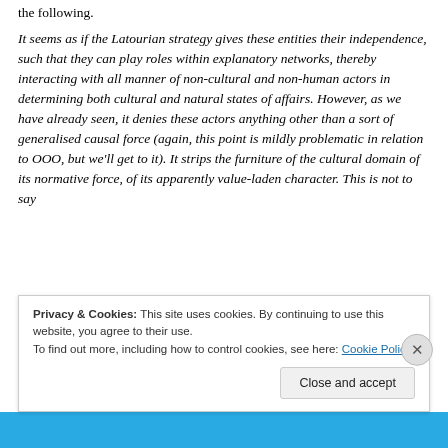the following.
It seems as if the Latourian strategy gives these entities their independence, such that they can play roles within explanatory networks, thereby interacting with all manner of non-cultural and non-human actors in determining both cultural and natural states of affairs. However, as we have already seen, it denies these actors anything other than a sort of generalised causal force (again, this point is mildly problematic in relation to OOO, but we'll get to it). It strips the furniture of the cultural domain of its normative force, of its apparently value-laden character. This is not to say
Privacy & Cookies: This site uses cookies. By continuing to use this website, you agree to their use. To find out more, including how to control cookies, see here: Cookie Policy